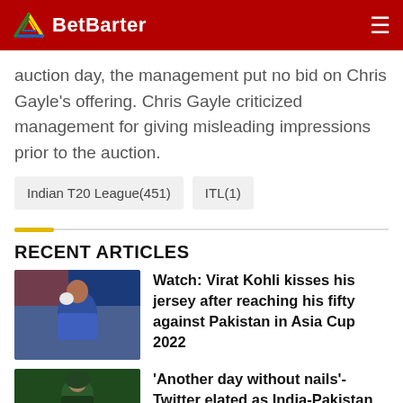BetBarter
auction day, the management put no bid on Chris Gayle's offering. Chris Gayle criticized management for giving misleading impressions prior to the auction.
Indian T20 League(451)
ITL(1)
RECENT ARTICLES
[Figure (photo): Cricket player in blue Indian jersey kissing his glove/jersey, crowd in background with Indian flag colors]
Watch: Virat Kohli kisses his jersey after reaching his fifty against Pakistan in Asia Cup 2022
[Figure (photo): Cricket player in green Pakistan jersey, partial view]
'Another day without nails'- Twitter elated as India-Pakistan